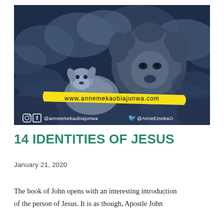[Figure (photo): A lion and a lamb together resting among clouds, overlaid with a dark blue tint. A yellow painted banner reads 'www.annemekaobiajunwa.com'. Social media handles shown at the bottom: Instagram and Facebook @anneemekaobiajunwa, Twitter @AnneEmekaO.]
14 IDENTITIES OF JESUS
January 21, 2020
The book of John opens with an interesting introduction of the person of Jesus. It is as though, Apostle John